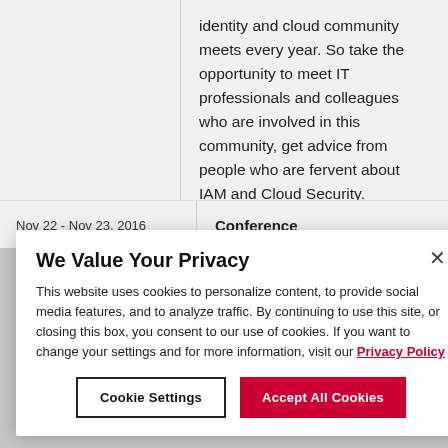identity and cloud community meets every year. So take the opportunity to meet IT professionals and colleagues who are involved in this community, get advice from people who are fervent about IAM and Cloud Security.
Nov 22 - Nov 23, 2016
Conference
We Value Your Privacy
This website uses cookies to personalize content, to provide social media features, and to analyze traffic. By continuing to use this site, or closing this box, you consent to our use of cookies. If you want to change your settings and for more information, visit our Privacy Policy
Cookie Settings
Accept All Cookies